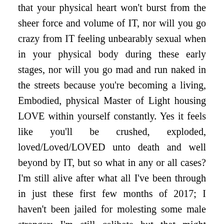that your physical heart won't burst from the sheer force and volume of IT, nor will you go crazy from IT feeling unbearably sexual when in your physical body during these early stages, nor will you go mad and run naked in the streets because you're becoming a living, Embodied, physical Master of Light housing LOVE within yourself constantly. Yes it feels like you'll be crushed, exploded, loved/Loved/LOVED unto death and well beyond by IT, but so what in any or all cases? I'm still alive after what all I've been through in just these first few months of 2017; I haven't been jailed for molesting some male stranger; I'm still celibate but that might change due to these massive evolutionary improvements; I'm still Embodying; still ending old negative patriarchal timelines; getting the oil in my car changed; buying toilet paper; still marveling at the stars in the night sky, and falling in LOVE more and more every day as the Embodiment Process IT continues. IT